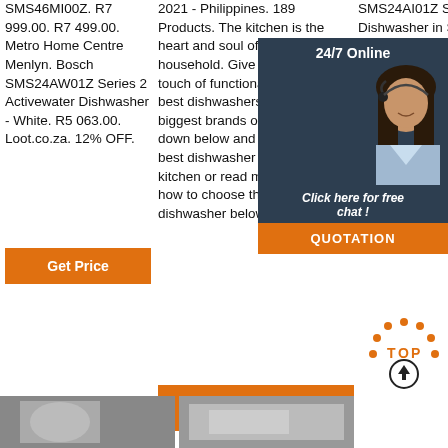SMS46MI00Z. R7 999.00. R7 499.00. Metro Home Centre Menlyn. Bosch SMS24AW01Z Series 2 Activewater Dishwasher - White. R5 063.00. Loot.co.za. 12% OFF.
Get Price
2021 - Philippines. 189 Products. The kitchen is the heart and soul of the household. Give your kitchen a touch of functionality with the best dishwashers from the biggest brands online. Scroll down below and choose the best dishwasher for your kitchen or read more about how to choose the perfect dishwasher below.
Get Price
SMS24AI01Z Serie 2 Dishwasher in Stainless Steel. R5 499.00. R4 799.00. Click On Shop. Midea W... 3602F 6... Countertop... Dishwas...
Get Price
[Figure (infographic): 24/7 Online chat widget with a customer service woman photo, 'Click here for free chat!' text and an orange QUOTATION button]
[Figure (infographic): TOP scroll-to-top button with orange dots arc and upward arrow circle]
[Figure (photo): Bottom row partial product images]
[Figure (photo): Bottom row second partial product image]